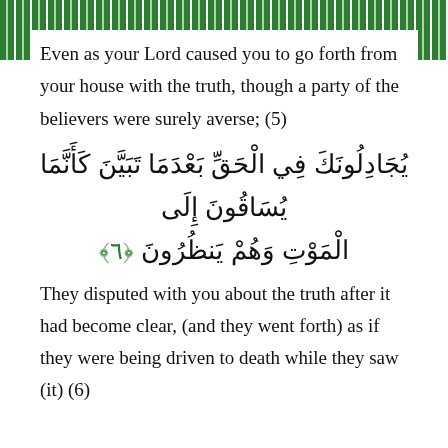Even as your Lord caused you to go forth from your house with the truth, though a party of the believers were surely averse; (5)
يُجَادِلُونَكَ فِي الْحَقِّ بَعْدَمَا تَبَيَّنَ كَأَنَّمَا يُسَاقُونَ إِلَى الْمَوْتِ وَهُمْ يَنظُرُونَ ﴿٦﴾
They disputed with you about the truth after it had become clear, (and they went forth) as if they were being driven to death while they saw (it) (6)